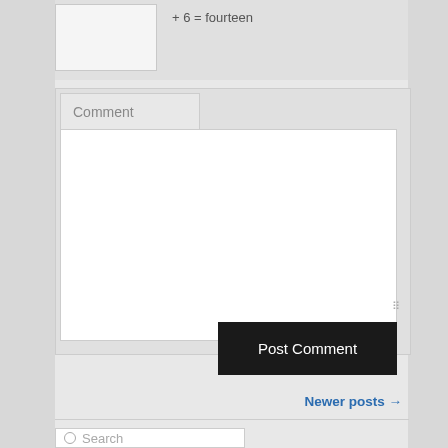+ 6 = fourteen
Comment
Post Comment
Newer posts →
Search